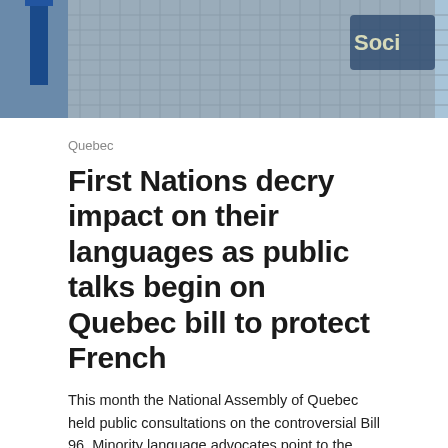[Figure (photo): Top of a tall urban building with blue sky and clouds visible, a blue flag or banner on the left side]
Quebec
First Nations decry impact on their languages as public talks begin on Quebec bill to protect French
This month the National Assembly of Quebec held public consultations on the controversial Bill 96. Minority language advocates point to the bill's discriminatory nature.
By Rachel Watts, 10 months ago | 1 | 8 min
[Figure (photo): Bottom partial image showing trees and outdoor scene]